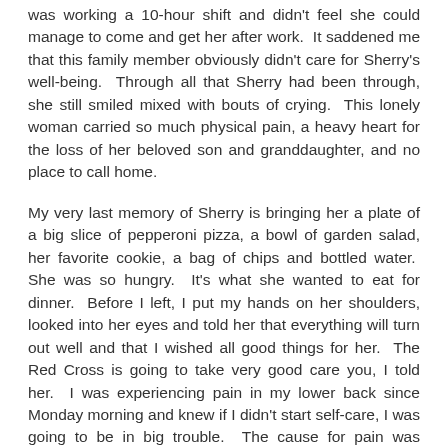was working a 10-hour shift and didn't feel she could manage to come and get her after work. It saddened me that this family member obviously didn't care for Sherry's well-being. Through all that Sherry had been through, she still smiled mixed with bouts of crying. This lonely woman carried so much physical pain, a heavy heart for the loss of her beloved son and granddaughter, and no place to call home.
My very last memory of Sherry is bringing her a plate of a big slice of pepperoni pizza, a bowl of garden salad, her favorite cookie, a bag of chips and bottled water. She was so hungry. It's what she wanted to eat for dinner. Before I left, I put my hands on her shoulders, looked into her eyes and told her that everything will turn out well and that I wished all good things for her. The Red Cross is going to take very good care you, I told her. I was experiencing pain in my lower back since Monday morning and knew if I didn't start self-care, I was going to be in big trouble. The cause for pain was wrestling with metal chairs that wouldn't come off the carts as they should, carrying them from the classroom to the gym, then sitting in them. They were the worst chairs